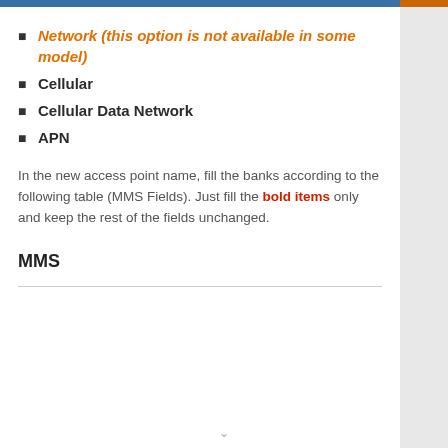Network (this option is not available in some model)
Cellular
Cellular Data Network
APN
In the new access point name, fill the banks according to the following table (MMS Fields). Just fill the bold items only and keep the rest of the fields unchanged.
MMS